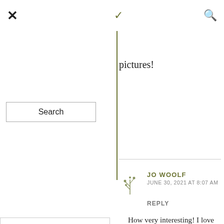× ∨ 🔍
pictures!
[Figure (other): Search button UI element]
ne Hazel
he's skull – a
JO WOOLF
JUNE 30, 2021 AT 8:07 AM
REPLY
How very interesting! I love the sound of John 'The Bright Sword' Graham of Kilbride. They knew how to name their heroes in those days! I feel as if there are some stories there! Very interesting too to hear about your family members who